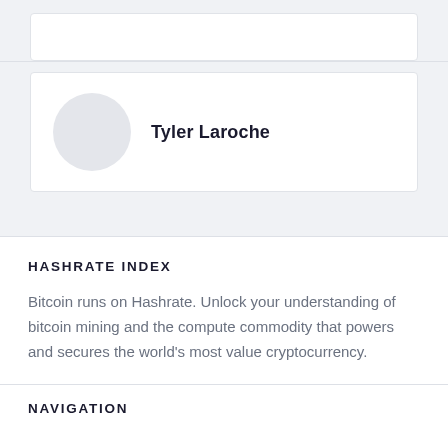[Figure (other): Partial top card element from previous section, cropped at top of page]
Tyler Laroche
HASHRATE INDEX
Bitcoin runs on Hashrate. Unlock your understanding of bitcoin mining and the compute commodity that powers and secures the world's most value cryptocurrency.
NAVIGATION